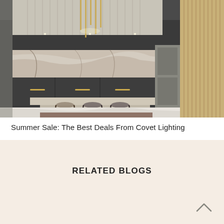[Figure (photo): Luxury dark kitchen interior with marble backsplash, pendant gold tube lighting, dark gray cabinets, marble island with bar stools, and marble flooring]
Summer Sale: The Best Deals From Covet Lighting
RELATED BLOGS